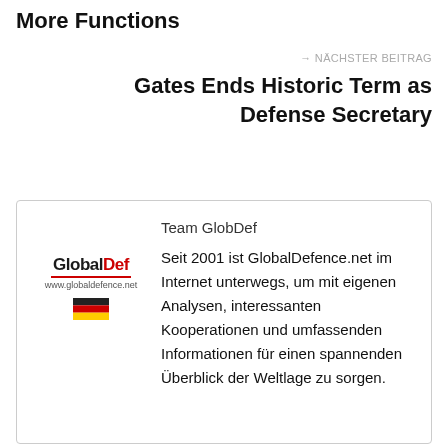More Functions
→ NÄCHSTER BEITRAG
Gates Ends Historic Term as Defense Secretary
Team GlobDef
[Figure (logo): GlobalDef logo with red underline and www.globaldefence.net URL, plus German flag emoji]
Seit 2001 ist GlobalDefence.net im Internet unterwegs, um mit eigenen Analysen, interessanten Kooperationen und umfassenden Informationen für einen spannenden Überblick der Weltlage zu sorgen.